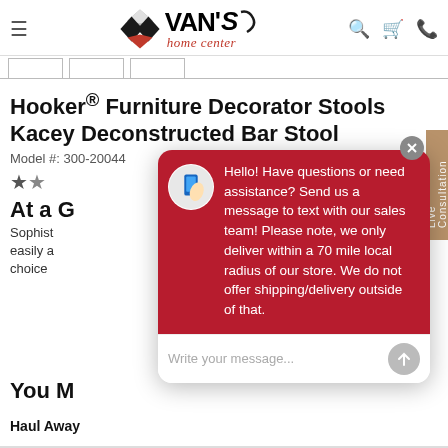[Figure (screenshot): Van's Home Center website header with logo, hamburger menu, search, cart, and phone icons]
Hooker® Furniture Decorator Stools Kacey Deconstructed Bar Stool
Model #: 300-20044
At a ...
Sophisticated ... easily a... choice ...
[Figure (screenshot): Chat popup overlay with message: Hello! Have questions or need assistance? Send us a message to text with our sales team! Please note, we only deliver within a 70 mile local radius of our store. We do not offer shipping/delivery outside of that.]
You M...
Haul Away